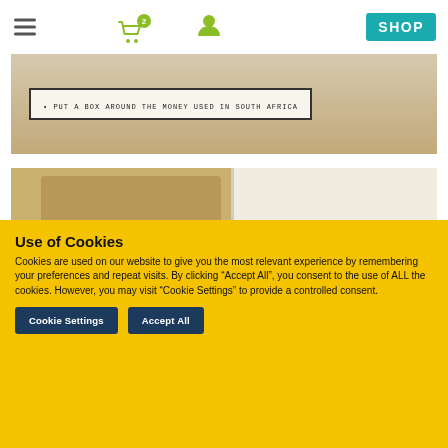Navigation bar with hamburger menu, cart icon with badge 2, user icon, and SHOP button
[Figure (photo): A classroom worksheet on a wooden desk showing text: PUT A BOX AROUND THE MONEY USED IN SOUTH AFRICA]
[Figure (photo): A classroom photo showing wooden stools near a curved desk/counter, student chairs and desks, with a student partially visible in the foreground]
Use of Cookies
Cookies are used on our website to give you the most relevant experience by remembering your preferences and repeat visits. By clicking “Accept All”, you consent to the use of ALL the cookies. However, you may visit “Cookie Settings” to provide a controlled consent.
Cookie Settings   Accept All